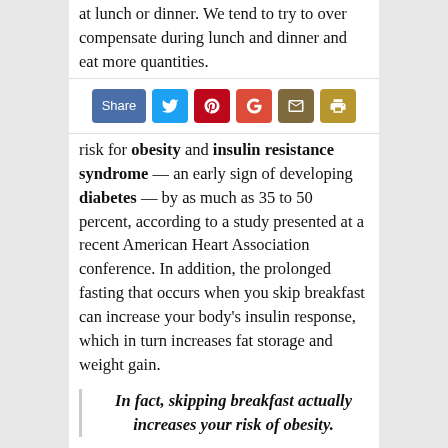at lunch or dinner. We tend to try to over compensate during lunch and dinner and eat more quantities.
[Figure (infographic): Social sharing toolbar with Share button, Twitter, Pinterest, Google+, Email, and Print icons]
risk for obesity and insulin resistance syndrome — an early sign of developing diabetes — by as much as 35 to 50 percent, according to a study presented at a recent American Heart Association conference. In addition, the prolonged fasting that occurs when you skip breakfast can increase your body's insulin response, which in turn increases fat storage and weight gain.
In fact, skipping breakfast actually increases your risk of obesity.
The science behind having breakfast and its effect on weight gain is quite clear. A healthy